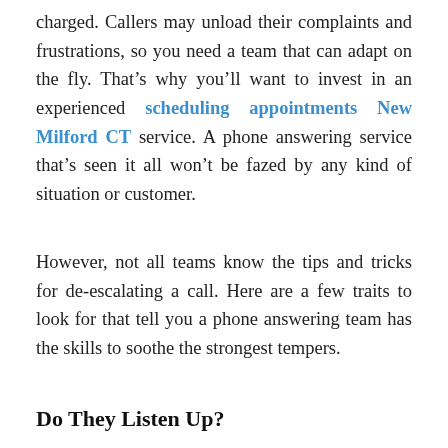charged. Callers may unload their complaints and frustrations, so you need a team that can adapt on the fly. That's why you'll want to invest in an experienced scheduling appointments New Milford CT service. A phone answering service that's seen it all won't be fazed by any kind of situation or customer.
However, not all teams know the tips and tricks for de-escalating a call. Here are a few traits to look for that tell you a phone answering team has the skills to soothe the strongest tempers.
Do They Listen Up?